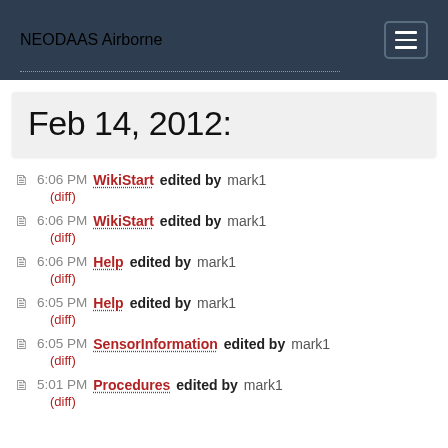NEODAAS Airborne
Feb 14, 2012:
6:06 PM WikiStart edited by mark1 (diff)
6:06 PM WikiStart edited by mark1 (diff)
6:06 PM Help edited by mark1 (diff)
6:05 PM Help edited by mark1 (diff)
6:05 PM SensorInformation edited by mark1 (diff)
5:01 PM Procedures edited by mark1 (diff)